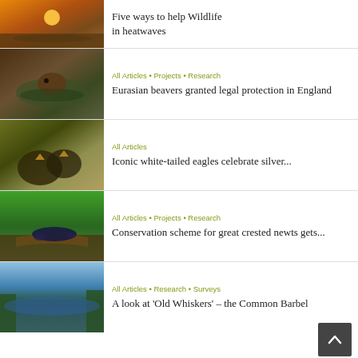[Figure (photo): Cracked earth at sunset — partial card at top of page]
Five ways to help Wildlife in heatwaves
[Figure (photo): Eurasian beaver swimming in a pond]
All Articles • Projects • Research
Eurasian beavers granted legal protection in England
[Figure (photo): White-tailed eagle chicks on a nest]
All Articles
Iconic white-tailed eagles celebrate silver...
[Figure (photo): Great crested newt on a log in green grass]
All Articles • Projects • Research
Conservation scheme for great crested newts gets...
[Figure (photo): River scene with trees along the banks]
All Articles • Research • Surveys
A look at 'Old Whiskers' – the Common Barbel